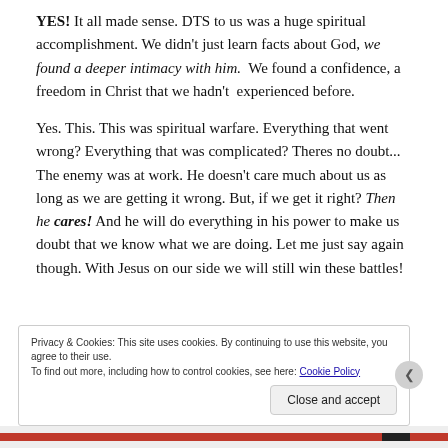YES! It all made sense. DTS to us was a huge spiritual accomplishment. We didn't just learn facts about God, we found a deeper intimacy with him. We found a confidence, a freedom in Christ that we hadn't experienced before.
Yes. This. This was spiritual warfare. Everything that went wrong? Everything that was complicated? Theres no doubt... The enemy was at work. He doesn't care much about us as long as we are getting it wrong. But, if we get it right? Then he cares! And he will do everything in his power to make us doubt that we know what we are doing. Let me just say again though. With Jesus on our side we will still win these battles!
Privacy & Cookies: This site uses cookies. By continuing to use this website, you agree to their use. To find out more, including how to control cookies, see here: Cookie Policy